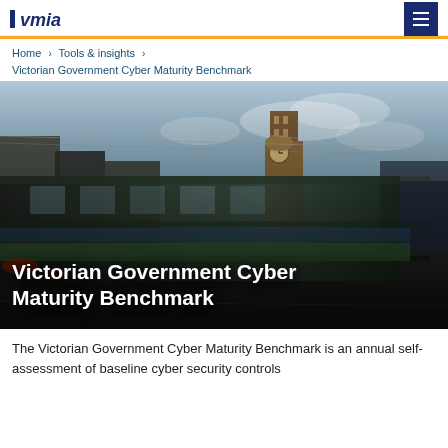VMIA [logo]
Home > Tools & insights > Victorian Government Cyber Maturity Benchmark
[Figure (photo): A blurred city tram speeding through Melbourne CBD street with Flinders Street Station tower visible in the background against a dramatic cloudy sky. Text overlay reads: Victorian Government Cyber Maturity Benchmark]
Victorian Government Cyber Maturity Benchmark
The Victorian Government Cyber Maturity Benchmark is an annual self-assessment of baseline cyber security controls